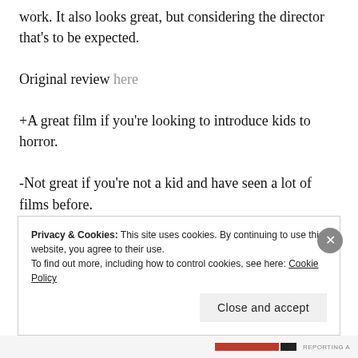work. It also looks great, but considering the director that's to be expected.
Original review here
+A great film if you're looking to introduce kids to horror.
-Not great if you're not a kid and have seen a lot of films before.
Privacy & Cookies: This site uses cookies. By continuing to use this website, you agree to their use. To find out more, including how to control cookies, see here: Cookie Policy
Close and accept